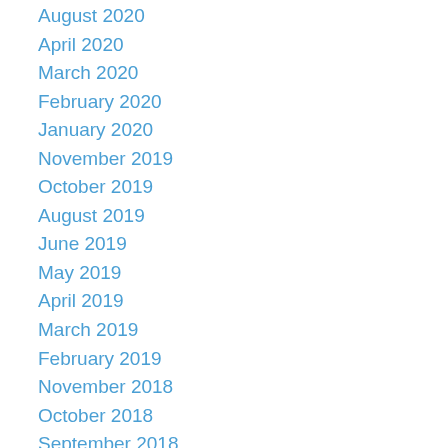August 2020
April 2020
March 2020
February 2020
January 2020
November 2019
October 2019
August 2019
June 2019
May 2019
April 2019
March 2019
February 2019
November 2018
October 2018
September 2018
August 2018
July 2018
June 2018
May 2018